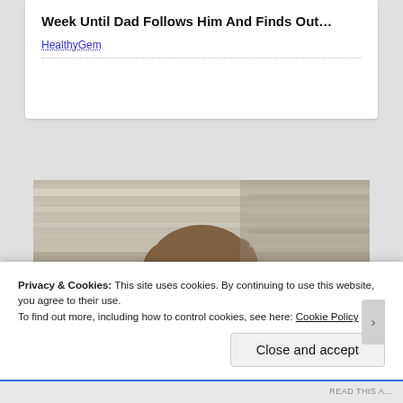Week Until Dad Follows Him And Finds Out…
HealthyGem
[Figure (photo): Black and white photograph of a smiling woman with shoulder-length hair, outdoors with a textured background.]
Privacy & Cookies: This site uses cookies. By continuing to use this website, you agree to their use.
To find out more, including how to control cookies, see here: Cookie Policy
Close and accept